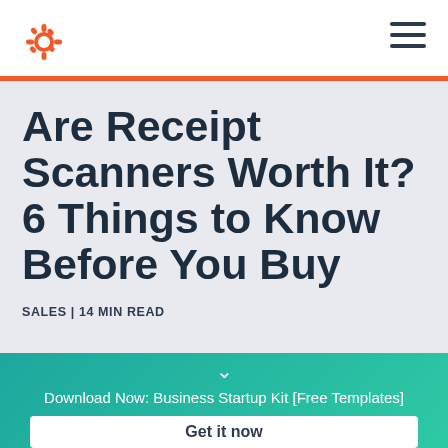HubSpot navigation bar with logo and hamburger menu
Are Receipt Scanners Worth It? 6 Things to Know Before You Buy
SALES | 14 MIN READ
Download Now: Business Startup Kit [Free Templates]
Get it now